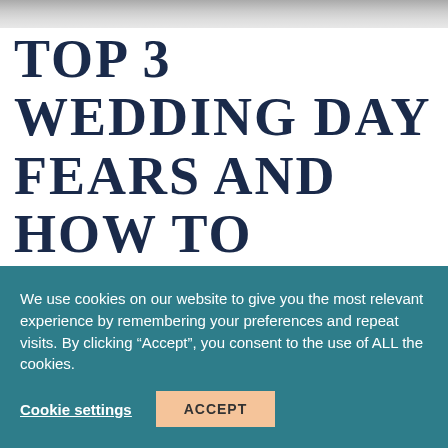[Figure (photo): Partial view of a black and white photograph, likely a wedding photo, cropped at the top of the page]
TOP 3 WEDDING DAY FEARS AND HOW TO OVERCOME THEM!
We use cookies on our website to give you the most relevant experience by remembering your preferences and repeat visits. By clicking “Accept”, you consent to the use of ALL the cookies.
Cookie settings   ACCEPT